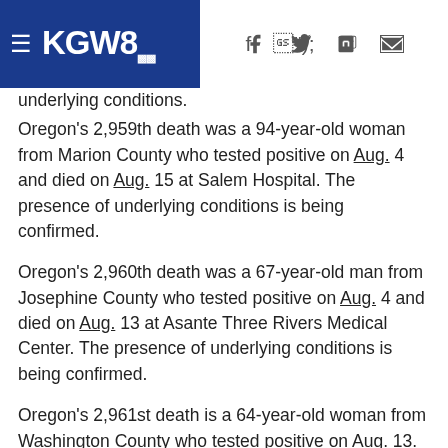KGW8
underlying conditions.
Oregon's 2,959th death was a 94-year-old woman from Marion County who tested positive on Aug. 4 and died on Aug. 15 at Salem Hospital. The presence of underlying conditions is being confirmed.
Oregon's 2,960th death was a 67-year-old man from Josephine County who tested positive on Aug. 4 and died on Aug. 13 at Asante Three Rivers Medical Center. The presence of underlying conditions is being confirmed.
Oregon's 2,961st death is a 64-year-old woman from Washington County who tested positive on Aug. 13. The date and location of death and the presence of underlying conditions are being confirmed.
Oregon's 2,962nd death was a 73-year-old man from Washington County who tested positive on Aug. 9 and died on Aug. 13. Location of death and presence of underlying